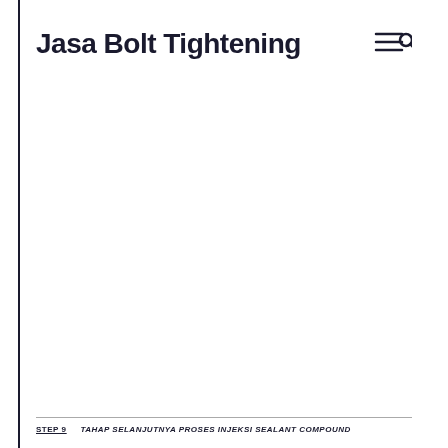Jasa Bolt Tightening
STEP 9   TAHAP SELANJUTNYA PROSES INJEKSI SEALANT COMPOUND